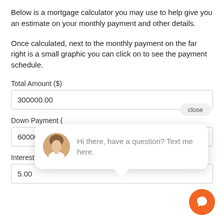Below is a mortgage calculator you may use to help give you an estimate on your monthly payment and other details.
Once calculated, next to the monthly payment on the far right is a small graphic you can click on to see the payment schedule.
Total Amount ($)
300000.00
Down Payment (
60000.00
Interest Rate (%)
5.00
[Figure (screenshot): Chat popup overlay with a woman's avatar photo and the text 'Hi there, have a question? Text me here.' with a close button and an orange chat icon button.]